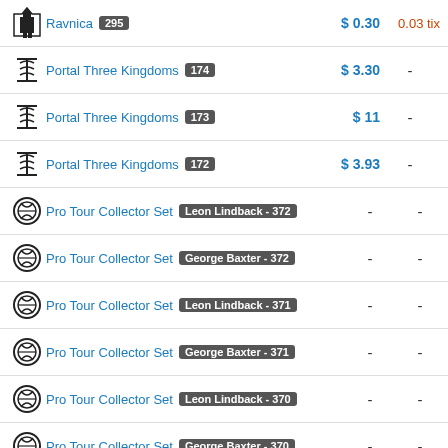| Icon | Set Name | Price | Tix |
| --- | --- | --- | --- |
| Ravnica 295 | $ 0.30 | 0.03 tix |
| Portal Three Kingdoms 174 | $ 3.30 | - |
| Portal Three Kingdoms 173 | $ 11 | - |
| Portal Three Kingdoms 172 | $ 3.93 | - |
| Pro Tour Collector Set Leon Lindback - 372 | - | - |
| Pro Tour Collector Set George Baxter - 372 | - | - |
| Pro Tour Collector Set Leon Lindback - 371 | - | - |
| Pro Tour Collector Set George Baxter - 371 | - | - |
| Pro Tour Collector Set Leon Lindback - 370 | - | - |
| Pro Tour Collector Set George Baxter - 370 | - | - |
| Promo: Standard Showdown Foil | $ 1.84 | - |
| Promo: Launch Party B04 Foil | - | - |
| Promo: Launch Party B05 Foil | - | - |